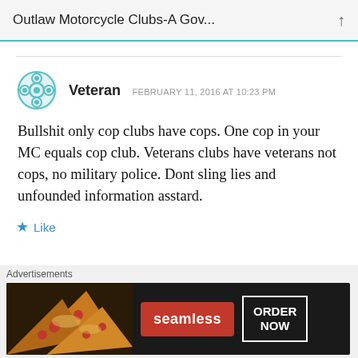Outlaw Motorcycle Clubs-A Gov...
Veteran  FEBRUARY 11, 2016 AT 10:23 PM
Bullshit only cop clubs have cops. One cop in your MC equals cop club. Veterans clubs have veterans not cops, no military police. Dont sling lies and unfounded information asstard.
[Figure (screenshot): Screenshot of a blog comment by user 'Veteran' dated February 11, 2016 at 10:23 PM, with a teal floral avatar icon.]
[Figure (infographic): Seamless food delivery advertisement banner with pizza image, red Seamless button, and 'ORDER NOW' bordered button on dark background.]